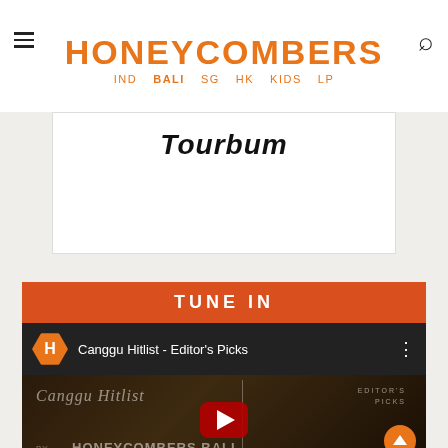HONEYCOMBERS — IND BALI SG HK KIDS LP
[Figure (screenshot): Partially visible text 'Tourbum' on a white card]
TUNE IN
[Figure (screenshot): YouTube video embed showing 'Canggu Hitlist - Editor's Picks' by Honeycombers Bali channel with play button overlay]